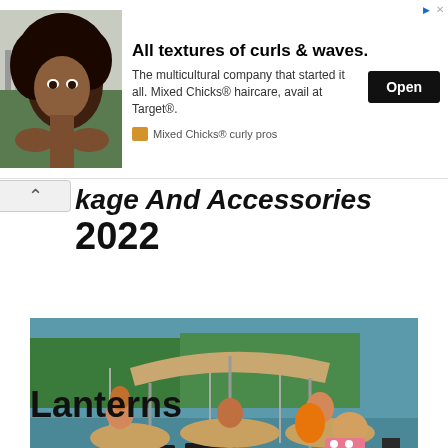[Figure (photo): Advertisement banner: woman with curly hair on left, ad text 'All textures of curls & waves.' with body copy and Open button, Mixed Chicks curly pros sponsor]
...kage And Accessories 2022
[Figure (photo): Pontoon boat on water with people lounging, tan upholstery, Yamaha outboard motor]
Lanterns